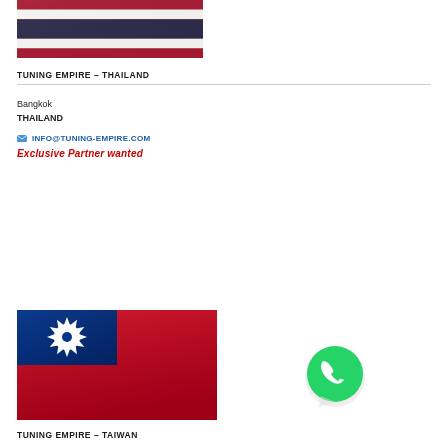[Figure (illustration): Thailand flag — red, white and blue horizontal stripes]
TUNING EMPIRE – THAILAND
Bangkok
THAILAND
INFO@TUNING-EMPIRE.COM
Exclusive Partner wanted
[Figure (illustration): Taiwan (ROC) flag — red field with blue canton bearing white sun]
[Figure (logo): WhatsApp green logo]
TUNING EMPIRE – TAIWAN